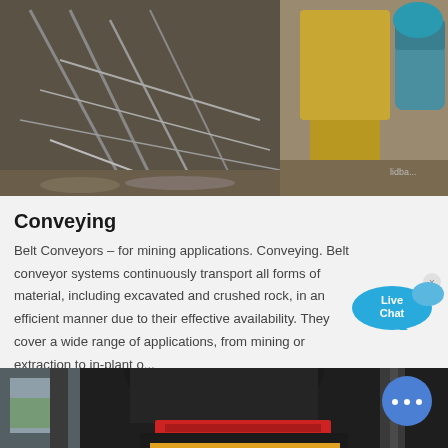[Figure (photo): Industrial conveyor/mining equipment with metal framework, pipes, and machinery visible]
Conveying
Belt Conveyors – for mining applications. Conveying. Belt conveyor systems continuously transport all forms of material, including excavated and crushed rock, in an efficient manner due to their effective availability. They cover a wide range of applications, from mining or extraction to in-plant o...
[Figure (photo): Large black and red industrial cone crusher machine in a facility]